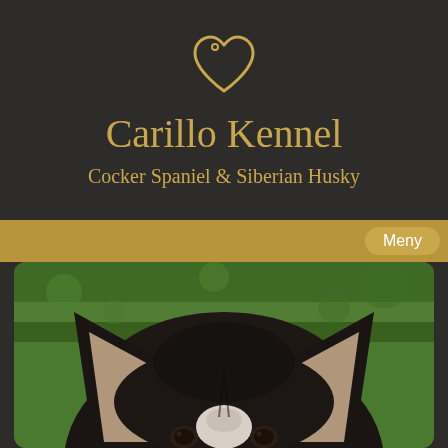[Figure (logo): Golden heart outline icon centered at top of dark background header]
Carillo Kennel
Cocker Spaniel & Siberian Husky
Meny
[Figure (photo): Close-up photo of a Siberian Husky dog face seen from above, showing pointed ears with tan inner fur, dark fur on top of head, white markings between eyes, and dark eyes. Green grass background, image is slightly blurred/bokeh.]